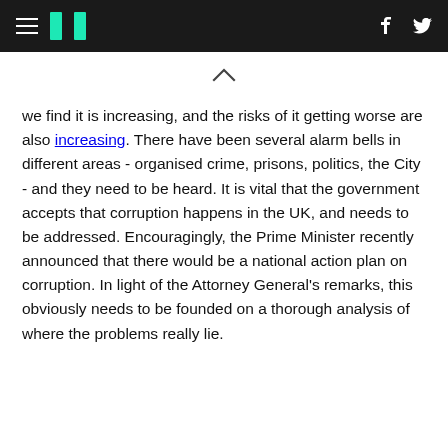HuffPost navigation header with hamburger menu, logo, Facebook and Twitter icons
we find it is increasing, and the risks of it getting worse are also increasing. There have been several alarm bells in different areas - organised crime, prisons, politics, the City - and they need to be heard. It is vital that the government accepts that corruption happens in the UK, and needs to be addressed. Encouragingly, the Prime Minister recently announced that there would be a national action plan on corruption. In light of the Attorney General's remarks, this obviously needs to be founded on a thorough analysis of where the problems really lie.